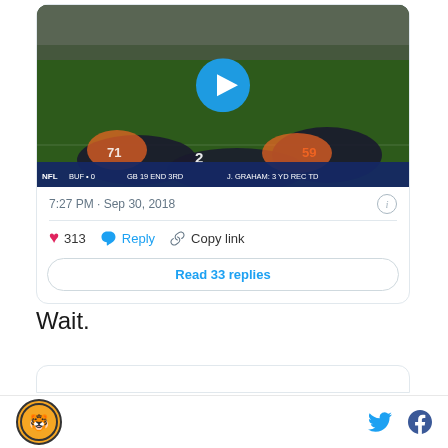[Figure (screenshot): Tweet card showing an NFL video thumbnail with football players in action. Scoreboard shows BUF 0, GB 19, END 3RD, J. GRAHAM: 3 YD REC TD. Blue play button overlay on image.]
7:27 PM · Sep 30, 2018
313   Reply   Copy link
Read 33 replies
Wait.
[Figure (screenshot): Partial view of another tweet card at bottom of page]
Site logo with social sharing icons for Twitter and Facebook